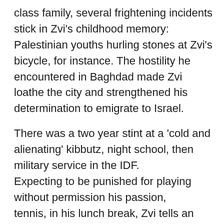class family, several frightening incidents stick in Zvi's childhood memory: Palestinian youths hurling stones at Zvi's bicycle, for instance. The hostility he encountered in Baghdad made Zvi loathe the city and strengthened his determination to emigrate to Israel.

There was a two year stint at a 'cold and alienating' kibbutz, night school, then military service in the IDF. Expecting to be punished for playing without permission his passion, tennis, in his lunch break, Zvi tells an amusing